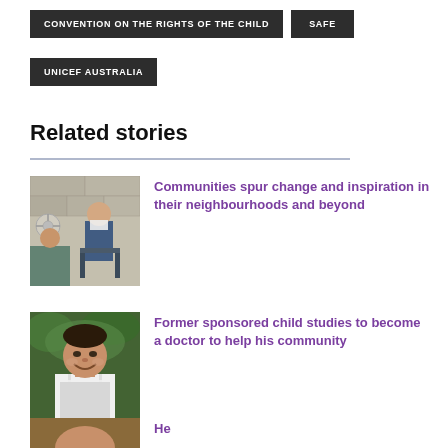CONVENTION ON THE RIGHTS OF THE CHILD
SAFE
UNICEF AUSTRALIA
Related stories
[Figure (photo): Woman in medical mask seated in a clinic setting with a fan visible in the background]
Communities spur change and inspiration in their neighbourhoods and beyond
[Figure (photo): Young man in white medical coat smiling at the camera outdoors]
Former sponsored child studies to become a doctor to help his community
[Figure (photo): Partial image of a person, partially visible at bottom of page]